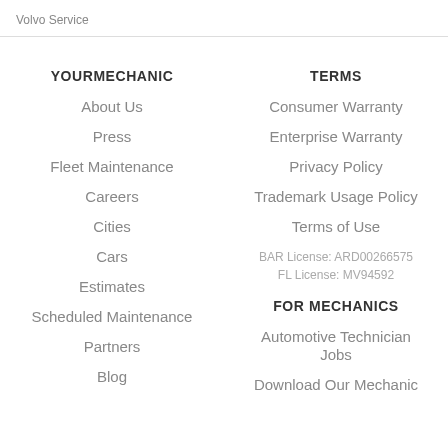Volvo Service
YOURMECHANIC
About Us
Press
Fleet Maintenance
Careers
Cities
Cars
Estimates
Scheduled Maintenance
Partners
Blog
TERMS
Consumer Warranty
Enterprise Warranty
Privacy Policy
Trademark Usage Policy
Terms of Use
BAR License: ARD00266575
FL License: MV94592
FOR MECHANICS
Automotive Technician Jobs
Download Our Mechanic